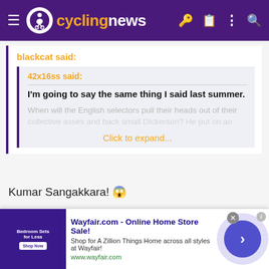cyclingnews
blackcat said:
42x16ss said:
I'm going to say the same thing I said last summer.
When will the English selectors pull their heads out of their collective asses and back small Dickerson? He put on an
Click to expand...
Kumar Sangakkara! 😱
Consummate superstar.
Wayfair.com - Online Home Store Sale! Shop for A Zillion Things Home across all styles at Wayfair! www.wayfair.com